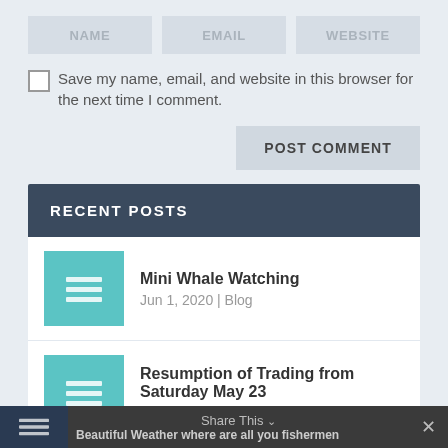[Figure (screenshot): Form input fields for NAME, EMAIL, WEBSITE]
Save my name, email, and website in this browser for the next time I comment.
POST COMMENT
RECENT POSTS
Mini Whale Watching
Jun 1, 2020 | Blog
Resumption of Trading from Saturday May 23
May 17, 2020 | Blog
Beautiful Weather where are all you fishermen
Share This